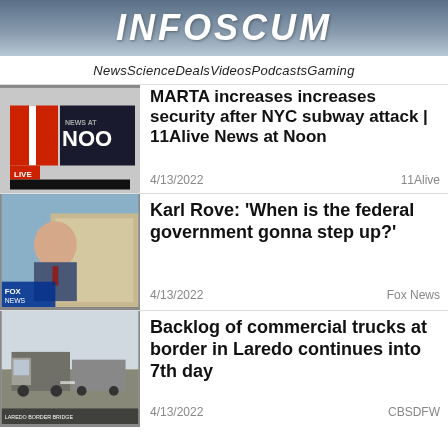INFOSCUM
News  Science  Deals  Videos  Podcasts  Gaming
MARTA increases increases security after NYC subway attack | 11Alive News at Noon
4/13/2022    11Alive
Karl Rove: 'When is the federal government gonna step up?'
4/13/2022    Fox News
Backlog of commercial trucks at border in Laredo continues into 7th day
4/13/2022    CBSDFW